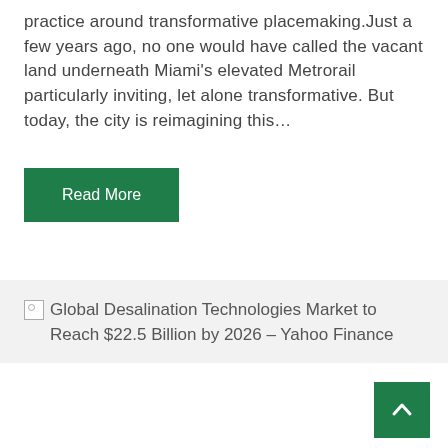practice around transformative placemaking.Just a few years ago, no one would have called the vacant land underneath Miami's elevated Metrorail particularly inviting, let alone transformative. But today, the city is reimagining this…
Read More
Global Desalination Technologies Market to Reach $22.5 Billion by 2026 – Yahoo Finance